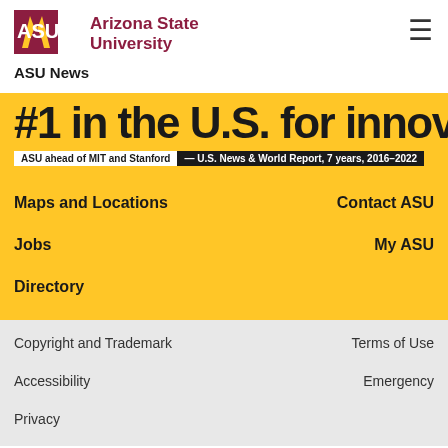ASU — Arizona State University | ASU News
[Figure (logo): Arizona State University logo with ASU spark mark and wordmark in maroon]
#1 in the U.S. for Innovation — ASU ahead of MIT and Stanford — U.S. News & World Report, 7 years, 2016–2022
Maps and Locations
Contact ASU
Jobs
My ASU
Directory
Copyright and Trademark
Terms of Use
Accessibility
Emergency
Privacy